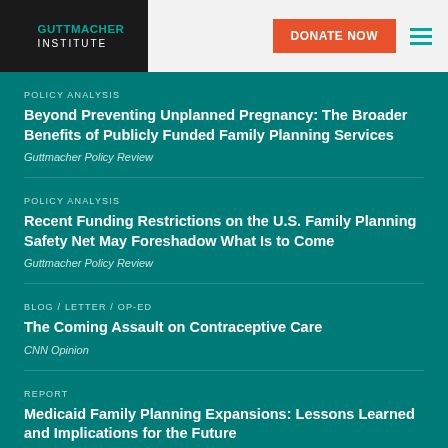GUTTMACHER INSTITUTE | DONATE NOW
POLICY ANALYSIS
Beyond Preventing Unplanned Pregnancy: The Broader Benefits of Publicly Funded Family Planning Services
Guttmacher Policy Review
POLICY ANALYSIS
Recent Funding Restrictions on the U.S. Family Planning Safety Net May Foreshadow What Is to Come
Guttmacher Policy Review
BLOG / LETTER / OP-ED
The Coming Assault on Contraceptive Care
CNN Opinion
REPORT
Medicaid Family Planning Expansions: Lessons Learned and Implications for the Future